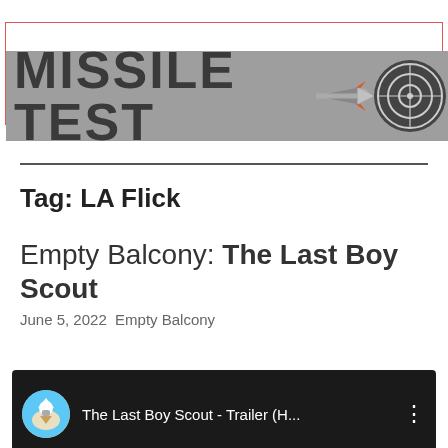MISSILE TEST
Tag: LA Flick
Empty Balcony: The Last Boy Scout
June 5, 2022  Empty Balcony
[Figure (screenshot): YouTube video thumbnail showing 'The Last Boy Scout - Trailer (H...' with a circular avatar icon and three-dot menu]